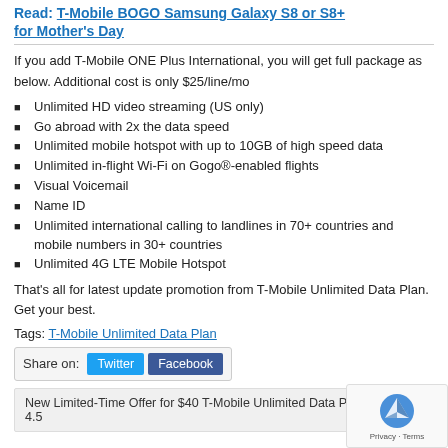Read: T-Mobile BOGO Samsung Galaxy S8 or S8+ for Mother's Day
If you add T-Mobile ONE Plus International, you will get full package as below. Additional cost is only $25/line/mo
Unlimited HD video streaming (US only)
Go abroad with 2x the data speed
Unlimited mobile hotspot with up to 10GB of high speed data
Unlimited in-flight Wi-Fi on Gogo®-enabled flights
Visual Voicemail
Name ID
Unlimited international calling to landlines in 70+ countries and mobile numbers in 30+ countries
Unlimited 4G LTE Mobile Hotspot
That's all for latest update promotion from T-Mobile Unlimited Data Plan. Get your best.
Tags: T-Mobile Unlimited Data Plan
Share on: Twitter Facebook
New Limited-Time Offer for $40 T-Mobile Unlimited Data Plan | admin | 4.5